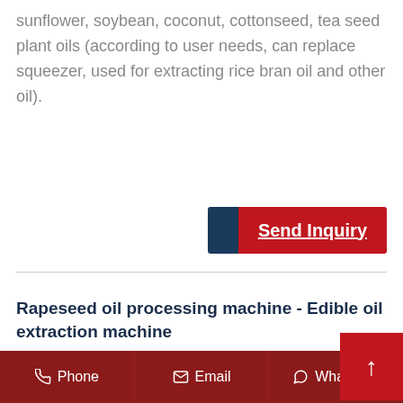sunflower, soybean, coconut, cottonseed, tea seed plant oils (according to user needs, can replace squeezer, used for extracting rice bran oil and other oil).
[Figure (other): Send Inquiry button with dark blue left section and red right section with underlined white bold text 'Send Inquiry']
Rapeseed oil processing machine - Edible oil extraction machine
Rapeseed oil processing machine for sale, We Company offer best rapeseed oil processing machine for rapeseeds oil extracting. All of our rapeseed oil proc...
Phone   Email   Whatsapp